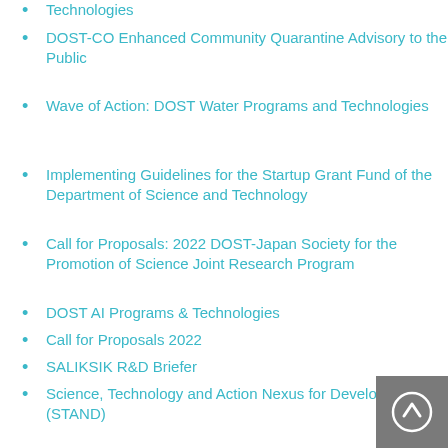Technologies
DOST-CO Enhanced Community Quarantine Advisory to the Public
Wave of Action: DOST Water Programs and Technologies
Implementing Guidelines for the Startup Grant Fund of the Department of Science and Technology
Call for Proposals: 2022 DOST-Japan Society for the Promotion of Science Joint Research Program
DOST AI Programs & Technologies
Call for Proposals 2022
SALIKSIK R&D Briefer
Science, Technology and Action Nexus for Development (STAND)
PCIEERD 2020 Call for Proposals and Guidelines
2020 Joint Research Project Call for Proposals Philippines-China
Leadership Development Program in Japan IATSS